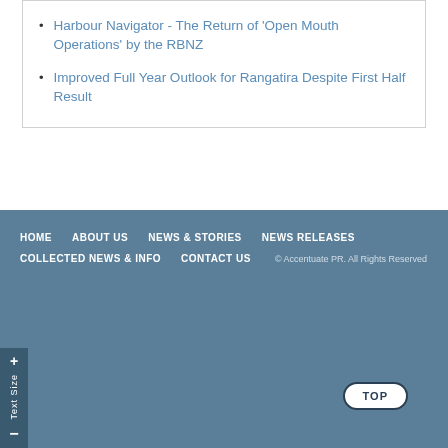Harbour Navigator - The Return of 'Open Mouth Operations' by the RBNZ
Improved Full Year Outlook for Rangatira Despite First Half Result
HOME  ABOUT US  NEWS & STORIES  NEWS RELEASES  COLLECTED NEWS & INFO  CONTACT US  © Accentuate PR. All Rights Reserved